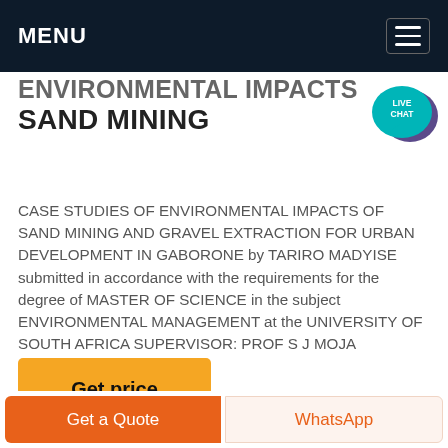MENU
ENVIRONMENTAL IMPACTS OF SAND MINING
CASE STUDIES OF ENVIRONMENTAL IMPACTS OF SAND MINING AND GRAVEL EXTRACTION FOR URBAN DEVELOPMENT IN GABORONE by TARIRO MADYISE submitted in accordance with the requirements for the degree of MASTER OF SCIENCE in the subject ENVIRONMENTAL MANAGEMENT at the UNIVERSITY OF SOUTH AFRICA SUPERVISOR: PROF S J MOJA
[Figure (illustration): Live Chat speech bubble icon in teal/purple color]
Get price
Get a Quote
WhatsApp